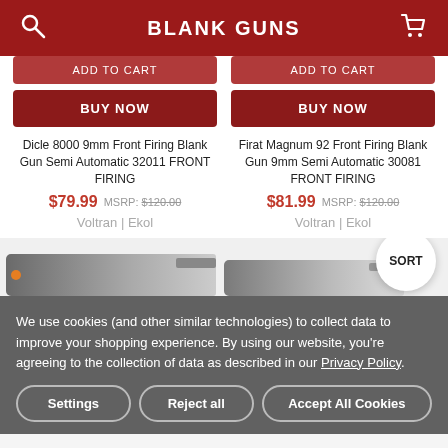BLANK GUNS
ADD TO CART
BUY NOW
Dicle 8000 9mm Front Firing Blank Gun Semi Automatic 32011 FRONT FIRING
$79.99  MSRP: $120.00
Voltran | Ekol
ADD TO CART
BUY NOW
Firat Magnum 92 Front Firing Blank Gun 9mm Semi Automatic 30081 FRONT FIRING
$81.99  MSRP: $120.00
Voltran | Ekol
SORT
[Figure (photo): Two blank firing guns shown partially at the bottom of the product listing page]
We use cookies (and other similar technologies) to collect data to improve your shopping experience. By using our website, you're agreeing to the collection of data as described in our Privacy Policy.
Settings
Reject all
Accept All Cookies